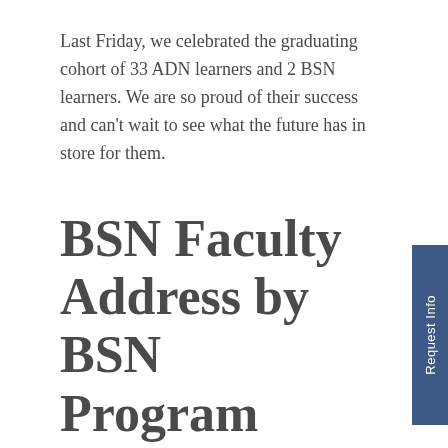Last Friday, we celebrated the graduating cohort of 33 ADN learners and 2 BSN learners. We are so proud of their success and can't wait to see what the future has in store for them.
BSN Faculty Address by BSN Program Manager, Shanda Clark